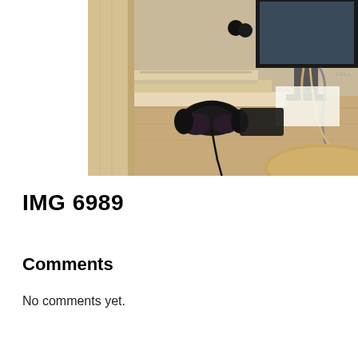[Figure (photo): A desk scene showing a wooden surface with black over-ear headphones, cables, a Dell monitor, and what appears to be a wooden window frame or door frame on the left side. A round wooden tray or lazy susan is visible at the bottom right.]
IMG 6989
Comments
No comments yet.